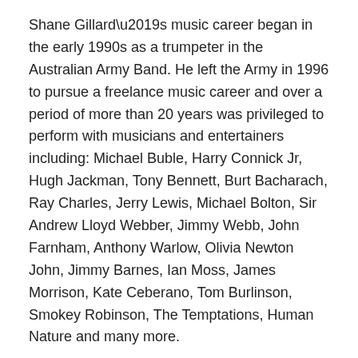Shane Gillard's music career began in the early 1990s as a trumpeter in the Australian Army Band. He left the Army in 1996 to pursue a freelance music career and over a period of more than 20 years was privileged to perform with musicians and entertainers including: Michael Buble, Harry Connick Jr, Hugh Jackman, Tony Bennett, Burt Bacharach, Ray Charles, Jerry Lewis, Michael Bolton, Sir Andrew Lloyd Webber, Jimmy Webb, John Farnham, Anthony Warlow, Olivia Newton John, Jimmy Barnes, Ian Moss, James Morrison, Kate Ceberano, Tom Burlinson, Smokey Robinson, The Temptations, Human Nature and many more.
Shane has played in over 20 professional musical theatre productions and played trumpet for the Universal Pictures movie release of Sir Andrew Lloyd Webber's “Love Never Dies”. He has regularly performed with the Melbourne Symphony Orchestra (MSO) including for the Sydney 2000 Opening Ceremony, 2006 Commonwealth Games opening and closing ceremonies, as a